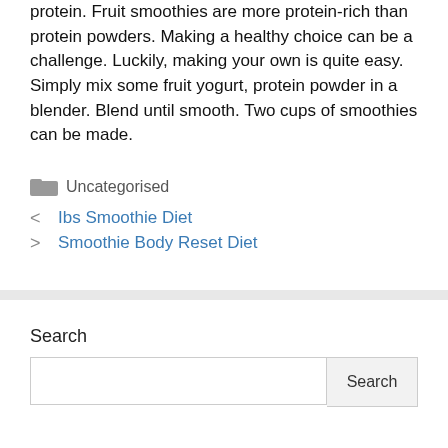protein. Fruit smoothies are more protein-rich than protein powders. Making a healthy choice can be a challenge. Luckily, making your own is quite easy. Simply mix some fruit yogurt, protein powder in a blender. Blend until smooth. Two cups of smoothies can be made.
Uncategorised
< Ibs Smoothie Diet
> Smoothie Body Reset Diet
Search